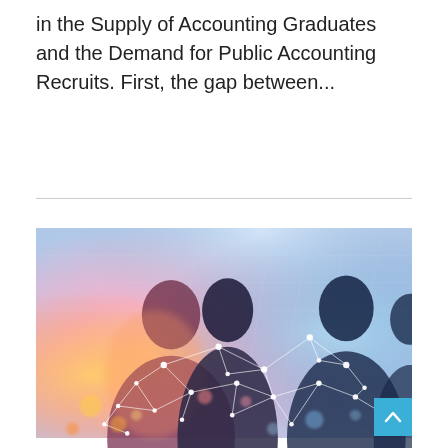in the Supply of Accounting Graduates and the Demand for Public Accounting Recruits. First, the gap between...
[Figure (photo): Silhouetted group of business professionals overlaid with a glowing network of connected dots and lines, with warm orange and cool blue lighting effects suggesting technology and connectivity.]